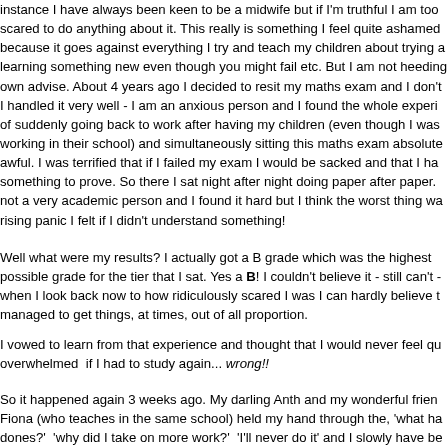instance I have always been keen to be a midwife but if I'm truthful I am too scared to do anything about it. This really is something I feel quite ashamed because it goes against everything I try and teach my children about trying a learning something new even though you might fail etc. But I am not heeding own advise. About 4 years ago I decided to resit my maths exam and I don't I handled it very well - I am an anxious person and I found the whole experience of suddenly going back to work after having my children (even though I was working in their school) and simultaneously sitting this maths exam absolutely awful. I was terrified that if I failed my exam I would be sacked and that I had something to prove. So there I sat night after night doing paper after paper. I not a very academic person and I found it hard but I think the worst thing was rising panic I felt if I didn't understand something!
Well what were my results? I actually got a B grade which was the highest possible grade for the tier that I sat. Yes a B! I couldn't believe it - still can't - when I look back now to how ridiculously scared I was I can hardly believe I managed to get things, at times, out of all proportion.
I vowed to learn from that experience and thought that I would never feel quite overwhelmed  if I had to study again... wrong!!
So it happened again 3 weeks ago. My darling Anth and my wonderful friend Fiona (who teaches in the same school) held my hand through the, 'what have dones?'  'why did I take on more work?'  'I'll never do it' and I slowly have been to come around to the idea. The main thing driving me is that if I get this I w